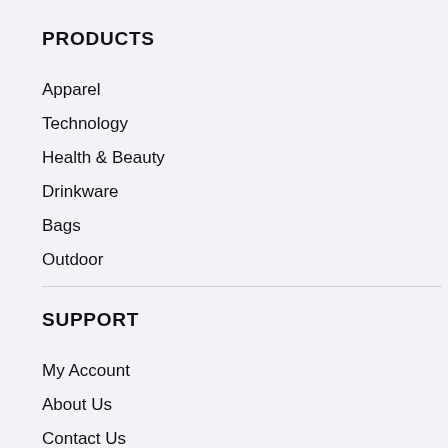PRODUCTS
Apparel
Technology
Health & Beauty
Drinkware
Bags
Outdoor
SUPPORT
My Account
About Us
Contact Us
FAQ's
Terms & Conditions